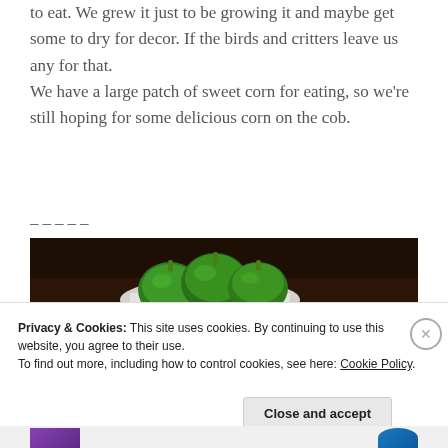to eat. We grew it just to be growing it and maybe get some to dry for decor. If the birds and critters leave us any for that.
We have a large patch of sweet corn for eating, so we're still hoping for some delicious corn on the cob.
_____
[Figure (photo): Photo of green bell peppers on a dark wooden table with watermark ©joysofcreating]
Privacy & Cookies: This site uses cookies. By continuing to use this website, you agree to their use.
To find out more, including how to control cookies, see here: Cookie Policy.